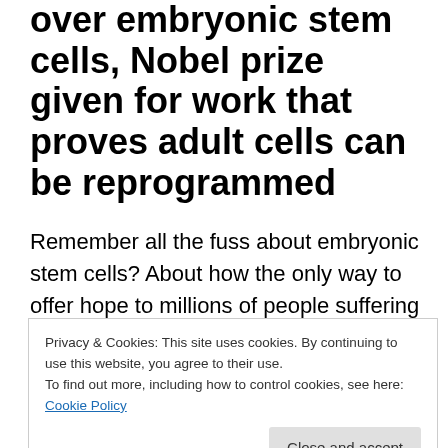over embryonic stem cells, Nobel prize given for work that proves adult cells can be reprogrammed
Remember all the fuss about embryonic stem cells? About how the only way to offer hope to millions of people suffering from a plethora of diseases and medical conditions was to harvest stem cells from embryonic human life? About how the destruction of the human
Privacy & Cookies: This site uses cookies. By continuing to use this website, you agree to their use.
To find out more, including how to control cookies, see here: Cookie Policy
dared to suggest that there might be an alternative and